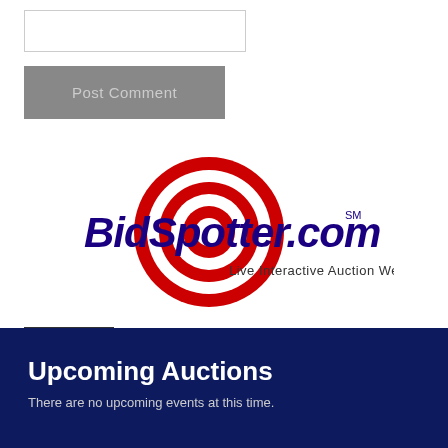[Figure (other): Text input/comment box, white rectangle with border]
[Figure (other): Gray 'Post Comment' button]
[Figure (logo): BidSpotter.com logo with red concentric circle target graphic and text 'BidSpotter.com SM Live Interactive Auction Webcasts!']
Upcoming Auctions
There are no upcoming events at this time.